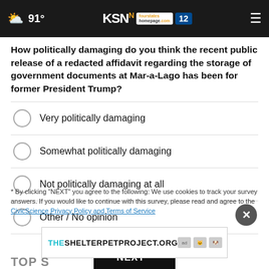91° KSN fourstates homepage.com 12
How politically damaging do you think the recent public release of a redacted affidavit regarding the storage of government documents at Mar-a-Lago has been for former President Trump?
Very politically damaging
Somewhat politically damaging
Not politically damaging at all
Other / No opinion
NEXT *
* By clicking "NEXT" you agree to the following: We use cookies to track your survey answers. If you would like to continue with this survey, please read and agree to the CivicScience Privacy Policy and Terms of Service
THESHELTERPETPROJECT.ORG
TOP STORIES